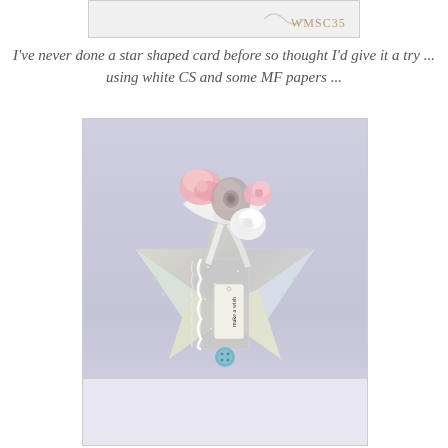[Figure (photo): Partial top image showing a crafting badge/label with text WMSC35 in gold/tan color]
I've never done a star shaped card before so thought I'd give it a try ... using white CS and some MF papers ...
[Figure (photo): A handmade star shaped card decorated with patterned papers in pastel colors, silver glitter, white ribbon bow, pink and white paper flowers, lace trim, a small tag reading 'make a wish', and a blue button. The card sits on a light purple/grey background.]